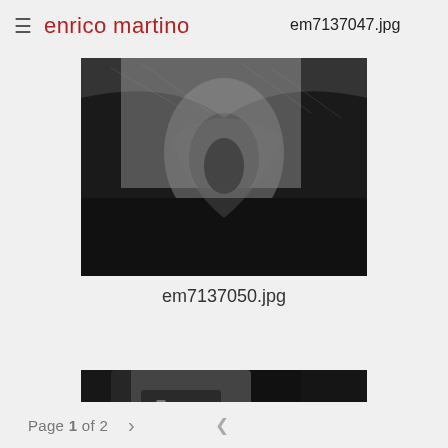≡ enrico martino
em7137047.jpg
[Figure (photo): Close-up dark artistic photograph of a ballet or dance shoe against a textured marble/stone background, high contrast black and white tones]
em7137050.jpg
[Figure (photo): Close-up dark artistic photograph of a laced shoe or boot with dark background, partially visible]
Page 1 of 2  >  <